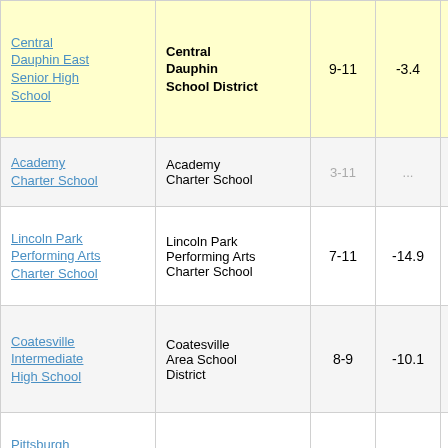| School | District | Grades | Change |  |
| --- | --- | --- | --- | --- |
| Central Dauphin East Senior High School | Central Dauphin School District | 9-11 | -3.4 |  |
| Academy Charter School | Academy Charter School | 3-11 | ... |  |
| Lincoln Park Performing Arts Charter School | Lincoln Park Performing Arts Charter School | 7-11 | -14.9 |  |
| Coatesville Intermediate High School | Coatesville Area School District | 8-9 | -10.1 |  |
| Pittsburgh Allderdice High School | Pittsburgh School District | 9-10 | -12.2 |  |
| New Castle Senior High School | New Castle Area School District | 7-12 | -13.1 |  |
| Shikellamy High School | Shikellamy School District | 9-10 | -15.2 |  |